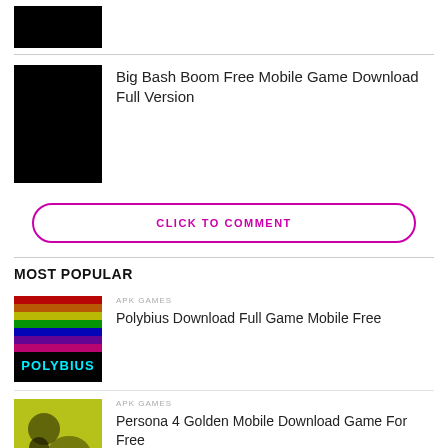[Figure (photo): Black thumbnail image at top (partially visible)]
[Figure (photo): Black square thumbnail image for Big Bash Boom article]
Big Bash Boom Free Mobile Game Download Full Version
CLICK TO COMMENT
MOST POPULAR
APK GAMES
[Figure (photo): Colorful Polybius game thumbnail with rainbow colors and logo]
Polybius Download Full Game Mobile Free
APK GAMES
[Figure (photo): Persona 4 Golden game thumbnail with yellow background]
Persona 4 Golden Mobile Download Game For Free